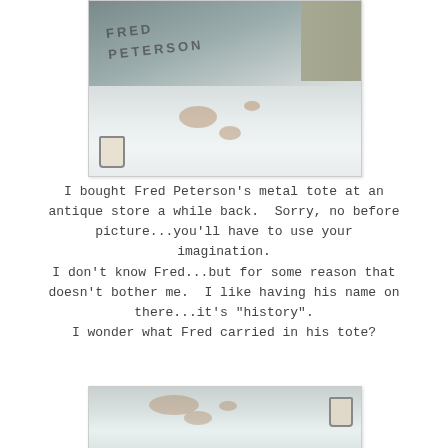[Figure (photo): Close-up photo of a metal tote with 'FRED PETERSON' engraved on it, showing a weathered marble/stone surface, some gravel, and a small paint cup visible at the bottom left.]
I bought Fred Peterson's metal tote at an antique store a while back.  Sorry, no before picture...you'll have to use your imagination.
I don't know Fred...but for some reason that doesn't bother me.  I like having his name on there...it's "history".
I wonder what Fred carried in his tote?
[Figure (photo): Partial photo of the metal tote surface showing the weathered marble/white painted surface with rust patches and a small paint cup on the right side.]